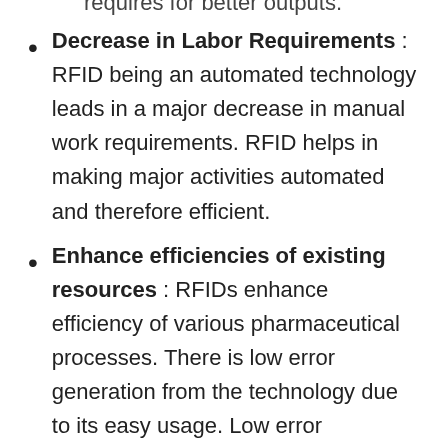requires for better outputs.
Decrease in Labor Requirements : RFID being an automated technology leads in a major decrease in manual work requirements. RFID helps in making major activities automated and therefore efficient.
Enhance efficiencies of existing resources : RFIDs enhance efficiency of various pharmaceutical processes. There is low error generation from the technology due to its easy usage. Low error generation leads to cost savings for the pharmaceutical. RFID gathers and analyzes data regarding staff members' movements, in order to